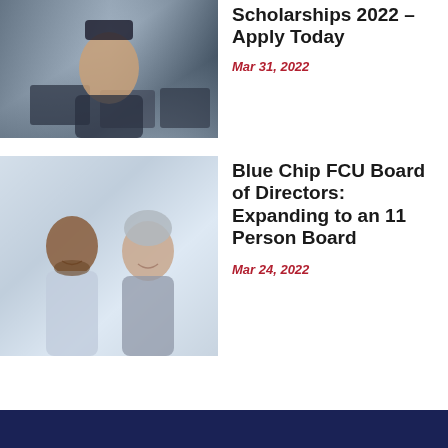[Figure (photo): Group of graduates in caps and gowns, smiling woman in foreground]
Scholarships 2022 – Apply Today
Mar 31, 2022
[Figure (photo): Two people smiling and sitting together, man with beard and woman with gray hair]
Blue Chip FCU Board of Directors: Expanding to an 11 Person Board
Mar 24, 2022